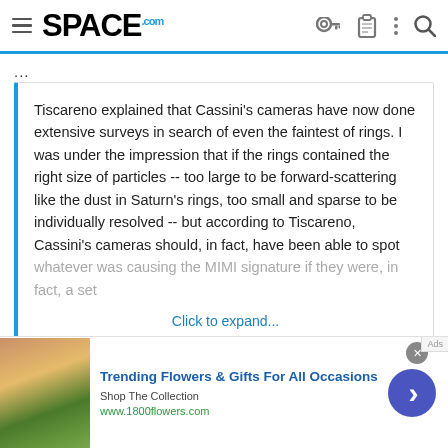SPACE.com
...
Tiscareno explained that Cassini's cameras have now done extensive surveys in search of even the faintest of rings. I was under the impression that if the rings contained the right size of particles -- too large to be forward-scattering like the dust in Saturn's rings, too small and sparse to be individually resolved -- but according to Tiscareno, Cassini's cameras should, in fact, have been able to spot whatever was causing the MIMI signature if they were, in fact, a set
Click to expand...
EarthlingX
[Figure (photo): Advertisement banner: woman with flowers. Trending Flowers & Gifts For All Occasions. Shop The Collection. www.1800flowers.com]